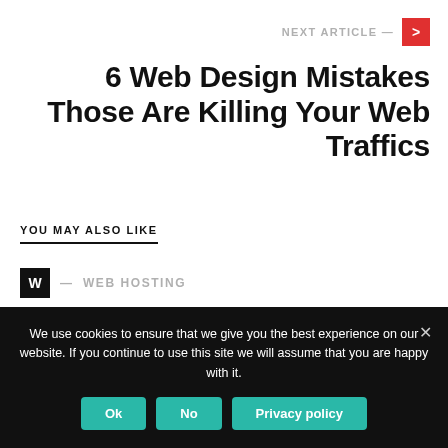NEXT ARTICLE —
6 Web Design Mistakes Those Are Killing Your Web Traffics
YOU MAY ALSO LIKE
W — WEB HOSTING
Getting Dedicated Server
We use cookies to ensure that we give you the best experience on our website. If you continue to use this site we will assume that you are happy with it.
Ok  No  Privacy policy